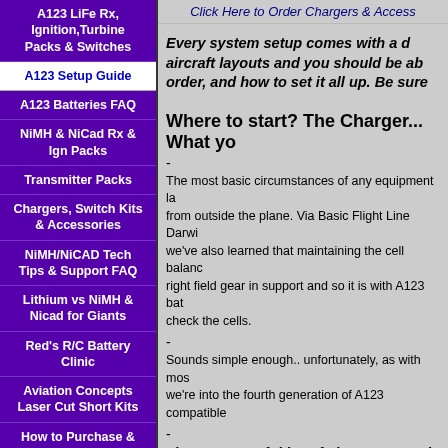A123 LiFe Rx, Ignition,Turbine Packs & Switches
A123 Setup Guide
A123 Batteries FAQ
NiMH & NiCad Rx & Ign Packs
Transmitter Packs
Chargers, Switch Kits & Accessories
NiMH/NiCAD Tech Tips & Support FAQ
Lithium vs NiMH & Nicad for Giants
Red's R/C Battery Clinic
Aviation Concepts Laser Cut Short Kits
How to Purchase & Shipping Policy
Contact Us
Click Here to Order Chargers & Access
Every system setup comes with a d aircraft layouts and you should be ab order, and how to set it all up. Be sure
Where to start? The Charger... What yo
-
The most basic circumstances of any equipment la from outside the plane. Via Basic Flight Line Darwi we've also learned that maintaining the cell balanc right field gear in support and so it is with A123 bat check the cells.
-
Sounds simple enough.. unfortunately, as with mos we're into the fourth generation of A123 compatible
-
There's an awful lot of chargers out th
It's quite likely you already have an A123 compatib